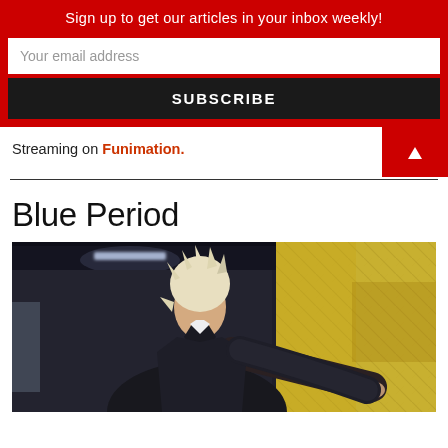Sign up to get our articles in your inbox weekly!
Your email address
SUBSCRIBE
Streaming on Funimation.
Blue Period
[Figure (photo): Anime screenshot from Blue Period showing a character with light/blonde spiky hair wearing a dark school uniform, facing and touching a large yellow/golden canvas painting in what appears to be a school art room with fluorescent ceiling lights visible in the background.]